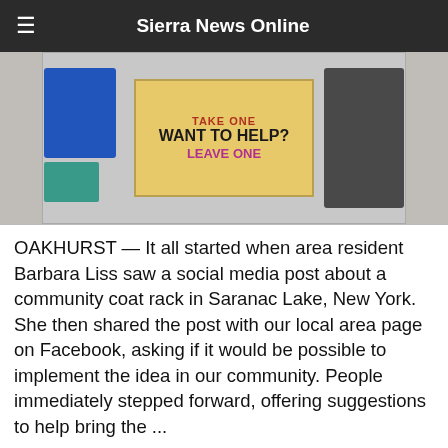Sierra News Online
[Figure (photo): Photo of a community coat rack with a wooden sign reading 'TAKE ONE / WANT TO HELP? / LEAVE ONE', flanked by hanging coats including a blue jacket and dark coats.]
OAKHURST — It all started when area resident Barbara Liss saw a social media post about a community coat rack in Saranac Lake, New York. She then shared the post with our local area page on Facebook, asking if it would be possible to implement the idea in our community. People immediately stepped forward, offering suggestions to help bring the ...
Read More »
What a Deal! Thrifting In The Oakhurst